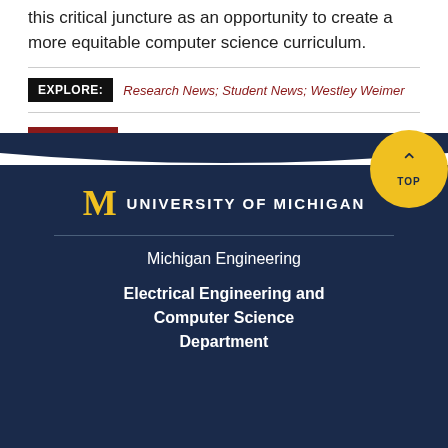this critical juncture as an opportunity to create a more equitable computer science curriculum.
EXPLORE: Research News; Student News; Westley Weimer
[Figure (logo): Dark navy blue University of Michigan footer with block M logo in gold, text UNIVERSITY OF MICHIGAN in white uppercase, Michigan Engineering link, and Electrical Engineering and Computer Science Department link]
Michigan Engineering
Electrical Engineering and Computer Science Department